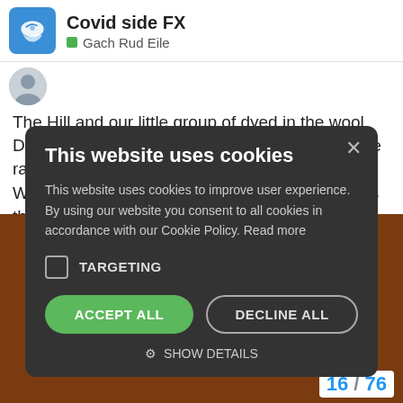Covid side FX — Gach Rud Eile
The Hill and our little group of dyed in the wool Dubs who have stood through hail rain and more rain down the years. Wonder what will happen with Parnell Park Pass this year and ti
[Figure (screenshot): Cookie consent modal dialog with dark background. Title: 'This website uses cookies'. Body text: 'This website uses cookies to improve user experience. By using our website you consent to all cookies in accordance with our Cookie Policy. Read more'. Checkbox for TARGETING. Two buttons: ACCEPT ALL (green) and DECLINE ALL (outlined). Show Details link at bottom.]
16 / 76